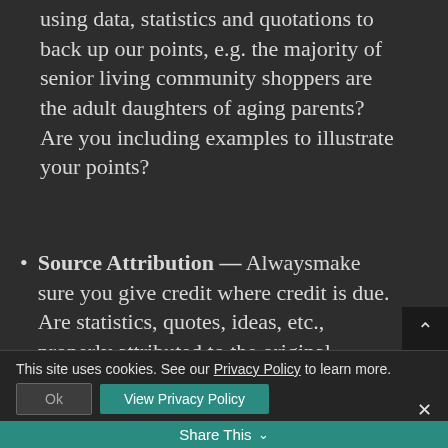using data, statistics and quotations to back up our points, e.g. the majority of senior living community shoppers are the adult daughters of aging parents? Are you including examples to illustrate your points?
Source Attribution — Alwaysmake sure you give credit where credit is due. Are statistics, quotes, ideas, etc., properly attributed to the original source? Do you use links back to
This site uses cookies. See our Privacy Policy to learn more.